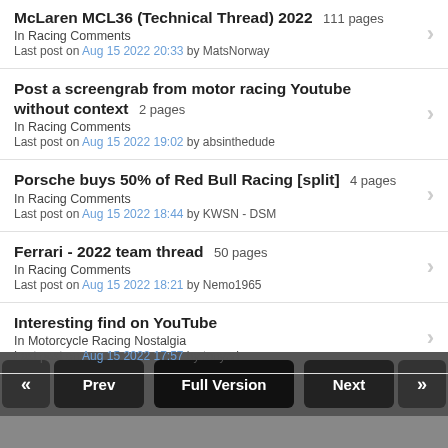McLaren MCL36 (Technical Thread) 2022  111 pages
In Racing Comments
Last post on Aug 15 2022 20:33 by MatsNorway
Post a screengrab from motor racing Youtube without context  2 pages
In Racing Comments
Last post on Aug 15 2022 19:02 by absinthedude
Porsche buys 50% of Red Bull Racing [split]  4 pages
In Racing Comments
Last post on Aug 15 2022 18:44 by KWSN - DSM
Ferrari - 2022 team thread  50 pages
In Racing Comments
Last post on Aug 15 2022 18:21 by Nemo1965
Interesting find on YouTube
In Motorcycle Racing Nostalgia
Last post on Aug 15 2022 17:57 by tonyed
« Prev   Full Version   Next »